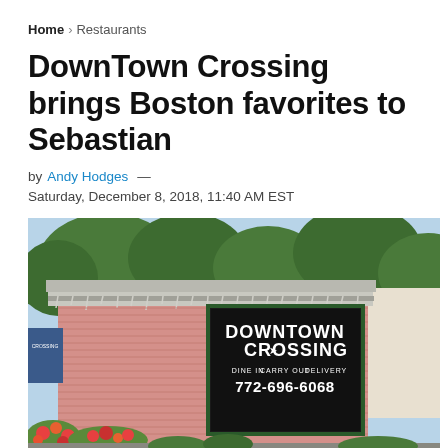Home > Restaurants
DownTown Crossing brings Boston favorites to Sebastian
by Andy Hodges — Saturday, December 8, 2018, 11:40 AM EST
[Figure (photo): Exterior of Downtown Crossing restaurant building, pink siding, large window sign reading DOWNTOWN CROSSING with arrow, DINE IN CARRY OUT DELIVERY, phone number 772-696-6068, with flowers and trees in foreground and background]